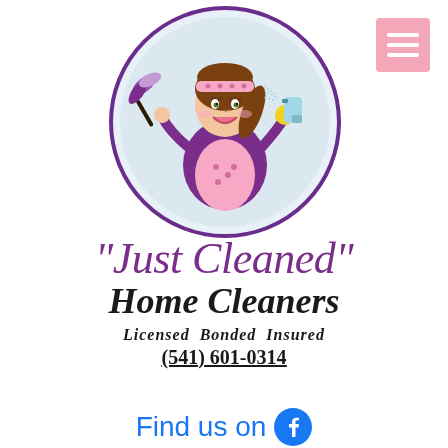[Figure (logo): Circular logo with illustrated cartoon maid/cleaner woman holding a feather duster and spray bottle, wearing purple outfit and pink polka-dot apron, with a pink headband. Circle has a purple border.]
"Just Cleaned" Home Cleaners
Licensed  Bonded  Insured
(541) 601-0314
Find us on